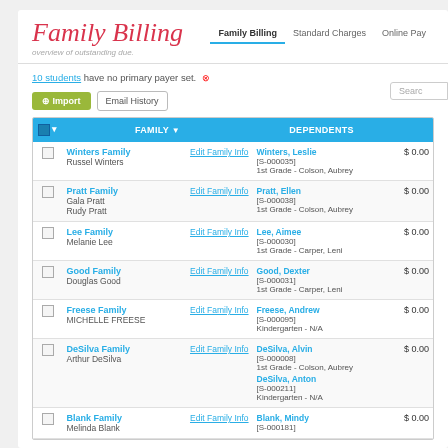Family Billing
Overview of outstanding due.
Family Billing | Standard Charges | Online Pay
10 students have no primary payer set.
|  | FAMILY |  | DEPENDENTS |  |
| --- | --- | --- | --- | --- |
|  | Winters Family
Russel Winters | Edit Family Info | Winters, Leslie
[S-000035]
1st Grade - Colson, Aubrey | $ 0.00 |
|  | Pratt Family
Gala Pratt
Rudy Pratt | Edit Family Info | Pratt, Ellen
[S-000038]
1st Grade - Colson, Aubrey | $ 0.00 |
|  | Lee Family
Melanie Lee | Edit Family Info | Lee, Aimee
[S-000030]
1st Grade - Carper, Leni | $ 0.00 |
|  | Good Family
Douglas Good | Edit Family Info | Good, Dexter
[S-000031]
1st Grade - Carper, Leni | $ 0.00 |
|  | Freese Family
MICHELLE FREESE | Edit Family Info | Freese, Andrew
[S-000095]
Kindergarten - N/A | $ 0.00 |
|  | DeSilva Family
Arthur DeSilva | Edit Family Info | DeSilva, Alvin
[S-000008]
1st Grade - Colson, Aubrey
DeSilva, Anton
[S-000211]
Kindergarten - N/A | $ 0.00 |
|  | Blank Family
Melinda Blank | Edit Family Info | Blank, Mindy
[S-000181] | $ 0.00 |